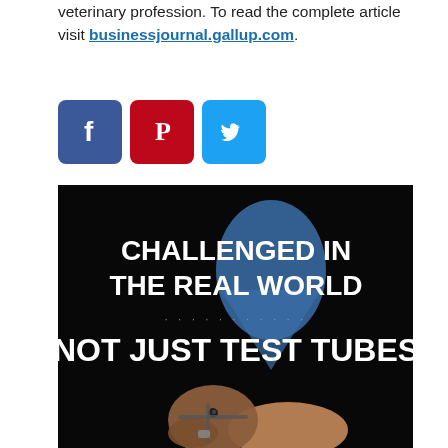veterinary profession. To read the complete article visit businessjournal.gallup.com.
[Figure (illustration): Social media share icons: Facebook (blue), Pinterest (red), Twitter (light blue)]
[Figure (photo): Dark background image with text 'CHALLENGED IN THE REAL WORLD ... NOT JUST TEST TUBES' and a photo of a hand holding a horse's head with bridle]